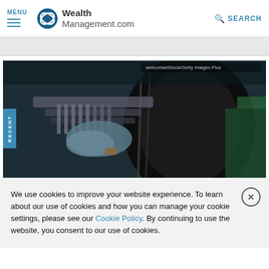MENU | WealthManagement.com | SEARCH
[Figure (photo): Photo of a mechanic working under a car, showing tire and undercarriage components. Watermark reads: welcomia/iStock/Getty Images Plus]
We use cookies to improve your website experience. To learn about our use of cookies and how you can manage your cookie settings, please see our Cookie Policy. By continuing to use the website, you consent to our use of cookies.